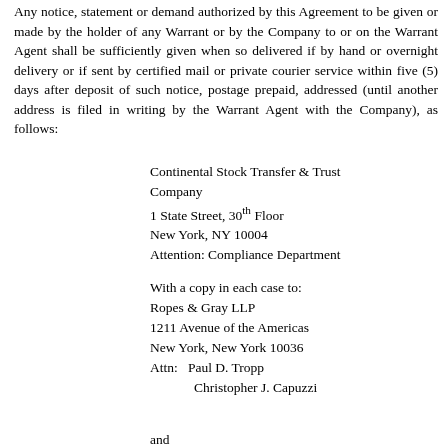Any notice, statement or demand authorized by this Agreement to be given or made by the holder of any Warrant or by the Company to or on the Warrant Agent shall be sufficiently given when so delivered if by hand or overnight delivery or if sent by certified mail or private courier service within five (5) days after deposit of such notice, postage prepaid, addressed (until another address is filed in writing by the Warrant Agent with the Company), as follows:
Continental Stock Transfer & Trust Company
1 State Street, 30th Floor
New York, NY 10004
Attention: Compliance Department
With a copy in each case to:
Ropes & Gray LLP
1211 Avenue of the Americas
New York, New York 10036
Attn:  Paul D. Tropp
             Christopher J. Capuzzi
and
Skadden, Arps, Slate, Meagher & Flom LLP
300 South Grand Avenue, Suite 3400
Los Angeles, California 90071
Attn:  Gregg A. Noel
             Laura Kaufmann Belkhayat
and